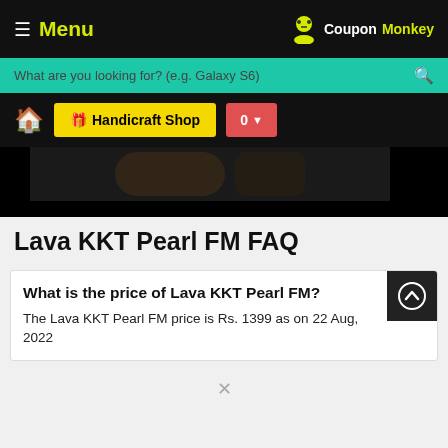≡ Menu — CouponMonkey
What are you looking for? (e.g. Galaxy S6)
🏠 Handicraft Shop  0 ▾
[Figure (photo): Dark background with a blurry close-up image of a hand holding a phone]
Lava KKT Pearl FM FAQ
What is the price of Lava KKT Pearl FM?
The Lava KKT Pearl FM price is Rs. 1399 as on 22 Aug, 2022